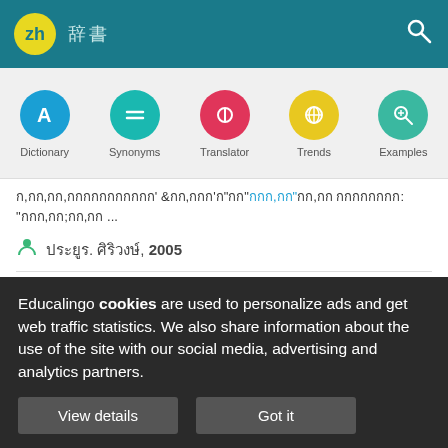zh 辞書
[Figure (screenshot): Navigation bar with 5 circular icons for Dictionary, Synonyms, Translator, Trends, Examples]
ก,กก,กก,กกกกกกกกกกก' &กก,กกก'ก"กก"กกก,กก"กก,กก กกกกกกกก: "กกก,กก;กก,กก ...
ประยูร. ศิริวงษ์, 2005
Educalingo cookies are used to personalize ads and get web traffic statistics. We also share information about the use of the site with our social media, advertising and analytics partners.
View details   Got it